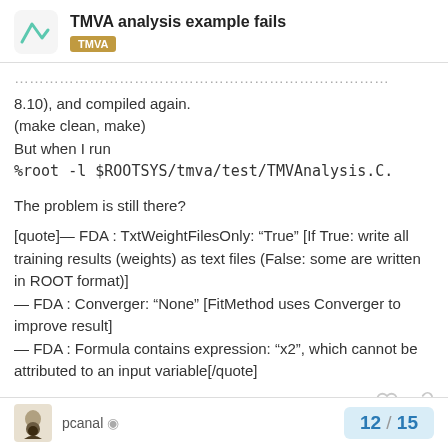TMVA analysis example fails — TMVA
8.10), and compiled again.
(make clean, make)
But when I run
%root -l $ROOTSYS/tmva/test/TMVAnalysis.C.
The problem is still there?
[quote]— FDA : TxtWeightFilesOnly: “True” [If True: write all training results (weights) as text files (False: some are written in ROOT format)]
— FDA : Converger: “None” [FitMethod uses Converger to improve result]
— FDA : Formula contains expression: “x2”, which cannot be attributed to an input variable[/quote]
pcanal  12 / 15